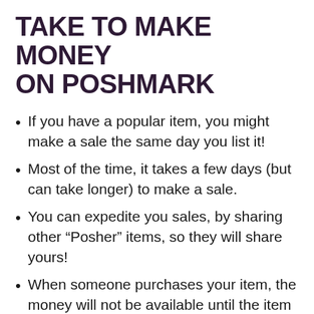TAKE TO MAKE MONEY ON POSHMARK
If you have a popular item, you might make a sale the same day you list it!
Most of the time, it takes a few days (but can take longer) to make a sale.
You can expedite you sales, by sharing other “Posher” items, so they will share yours!
When someone purchases your item, the money will not be available until the item is shipped and delivered.
Once the item has been delivered and the buyer accepts, your earnings are redeemable.